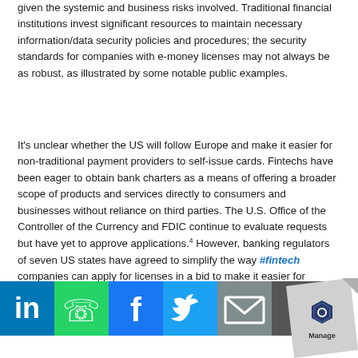given the systemic and business risks involved. Traditional financial institutions invest significant resources to maintain necessary information/data security policies and procedures; the security standards for companies with e-money licenses may not always be as robust, as illustrated by some notable public examples.
It's unclear whether the US will follow Europe and make it easier for non-traditional payment providers to self-issue cards. Fintechs have been eager to obtain bank charters as a means of offering a broader scope of products and services directly to consumers and businesses without reliance on third parties. The U.S. Office of the Controller of the Currency and FDIC continue to evaluate requests but have yet to approve applications.4 However, banking regulators of seven US states have agreed to simplify the way #fintech companies can apply for licenses in a bid to make it easier for businesses to offer their services nationwide.5 Not all of the states will help promote… businesses with ensuring continued safety and…
[Figure (other): Social media sharing bar with LinkedIn, WhatsApp, Facebook, Twitter, Email, and More buttons overlaid at bottom of page]
[Figure (logo): Manage widget logo in bottom right corner]